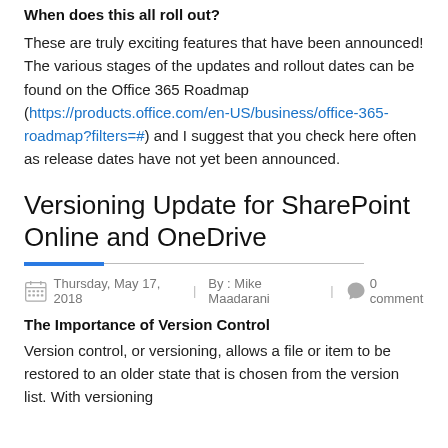When does this all roll out?
These are truly exciting features that have been announced! The various stages of the updates and rollout dates can be found on the Office 365 Roadmap (https://products.office.com/en-US/business/office-365-roadmap?filters=#) and I suggest that you check here often as release dates have not yet been announced.
Versioning Update for SharePoint Online and OneDrive
Thursday, May 17, 2018 | By : Mike Maadarani | 0 comment
The Importance of Version Control
Version control, or versioning, allows a file or item to be restored to an older state that is chosen from the version list. With versioning